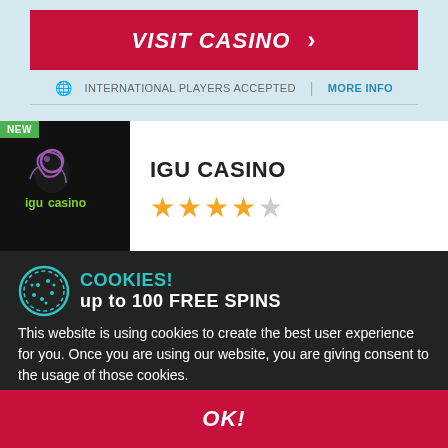VISIT CASINO ›
INTERNATIONAL PLAYERS ACCEPTED  |  MORE INFO
[Figure (logo): IGU Casino logo on dark background with purple bird icon and green text]
IGU CASINO
★★★★☆ (4 out of 5 stars)
COOKIES! up to 100 FREE SPINS
This website is using cookies to create the best user experience for you. Once you are using our website, you are giving consent to the usage of those cookies.
OK!